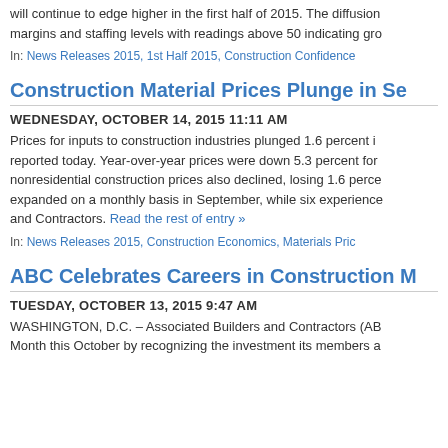will continue to edge higher in the first half of 2015. The diffusion margins and staffing levels with readings above 50 indicating gro
In: News Releases 2015, 1st Half 2015, Construction Confidence
Construction Material Prices Plunge in Se
WEDNESDAY, OCTOBER 14, 2015 11:11 AM
Prices for inputs to construction industries plunged 1.6 percent i reported today. Year-over-year prices were down 5.3 percent for nonresidential construction prices also declined, losing 1.6 perce expanded on a monthly basis in September, while six experience and Contractors. Read the rest of entry »
In: News Releases 2015, Construction Economics, Materials Pric
ABC Celebrates Careers in Construction M
TUESDAY, OCTOBER 13, 2015 9:47 AM
WASHINGTON, D.C. – Associated Builders and Contractors (AB Month this October by recognizing the investment its members a